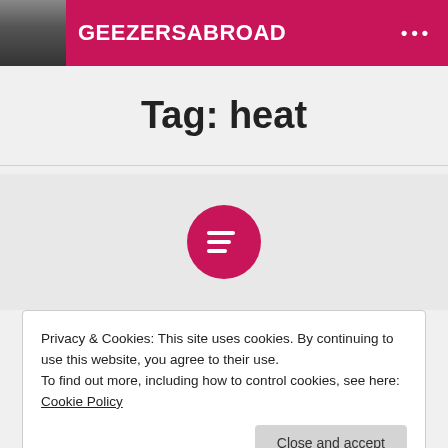GEEZERSABROAD
Tag: heat
[Figure (other): Pink/crimson circle with a list/text icon (three horizontal lines with left alignment) on a light gray background]
Privacy & Cookies: This site uses cookies. By continuing to use this website, you agree to their use.
To find out more, including how to control cookies, see here: Cookie Policy
Close and accept